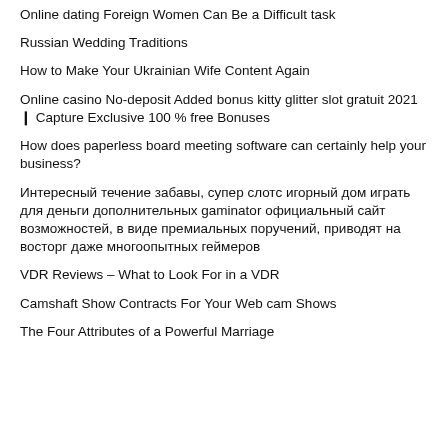Online dating Foreign Women Can Be a Difficult task
Russian Wedding Traditions
How to Make Your Ukrainian Wife Content Again
Online casino No-deposit Added bonus kitty glitter slot gratuit 2021 ❙ Capture Exclusive 100 % free Bonuses
How does paperless board meeting software can certainly help your business?
Интересный течение забавы, супер слотс игорный дом играть для деньги дополнительных gaminator официальный сайт возможностей, в виде премиальных поручений, приводят на восторг даже многоопытных геймеров
VDR Reviews – What to Look For in a VDR
Camshaft Show Contracts For Your Web cam Shows
The Four Attributes of a Powerful Marriage